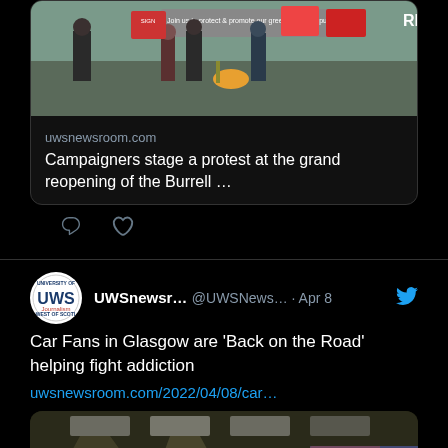[Figure (screenshot): Top portion of a tweet showing a link card with image of protesters holding signs, domain uwsnewsroom.com, title 'Campaigners stage a protest at the grand reopening of the Burrell ...']
[Figure (screenshot): Tweet by UWSnewsr... @UWSNews... Apr 8 with Twitter bird icon. Text: Car Fans in Glasgow are 'Back on the Road' helping fight addiction. Link: uwsnewsroom.com/2022/04/08/car... Followed by image of vintage buses in a depot.]